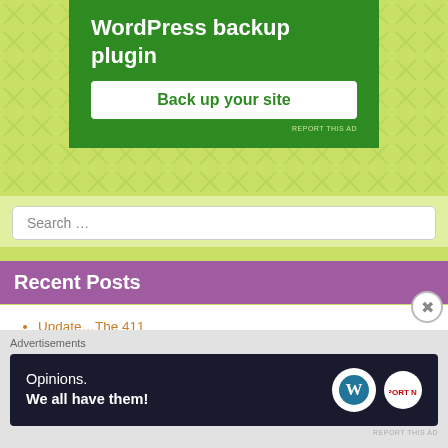[Figure (infographic): Green WordPress backup plugin advertisement banner with white button 'Back up your site']
Search …
Recent Posts
Update…The 411
Mommy Make Over – The 411
Mommy Makeover – The 411
Happy Birthday – The 411
Bon Appetit Magazine's Fav Chef 2021 – the 411
Advertisements
[Figure (screenshot): Dark advertisement banner: 'Opinions. We all have them!' with WordPress logo]